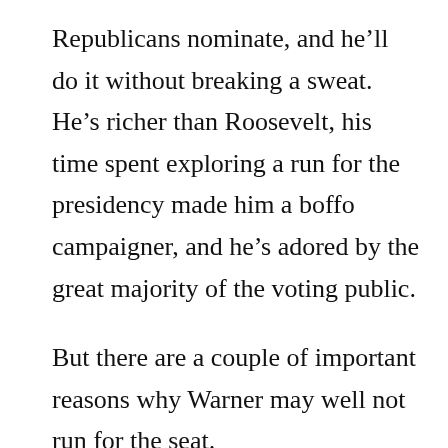Republicans nominate, and he'll do it without breaking a sweat. He's richer than Roosevelt, his time spent exploring a run for the presidency made him a boffo campaigner, and he's adored by the great majority of the voting public.
But there are a couple of important reasons why Warner may well not run for the seat.
First and foremost, the man's experience is as an executive. He made his millions running